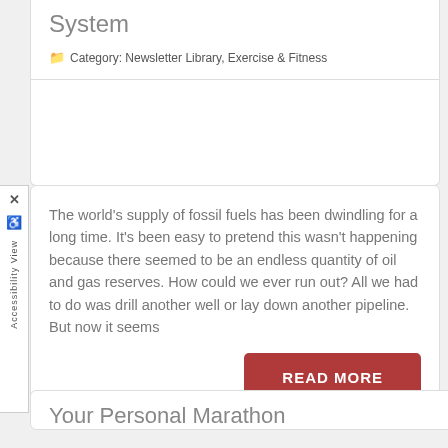System
Category: Newsletter Library, Exercise & Fitness
The world's supply of fossil fuels has been dwindling for a long time. It's been easy to pretend this wasn't happening because there seemed to be an endless quantity of oil and gas reserves. How could we ever run out? All we had to do was drill another well or lay down another pipeline. But now it seems
READ MORE
Your Personal Marathon